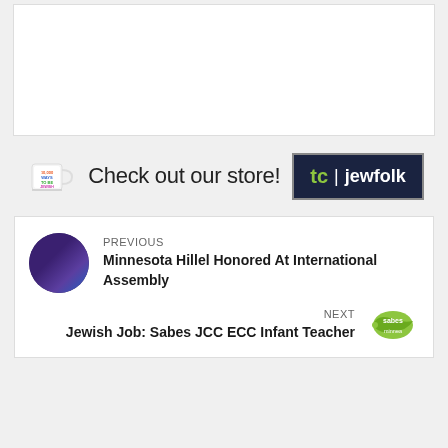[Figure (other): Advertisement box (empty/white)]
[Figure (logo): Check out our store! banner with mug image and tc|jewfolk logo]
[Figure (other): Navigation box with previous article: Minnesota Hillel Honored At International Assembly, and next article: Jewish Job: Sabes JCC ECC Infant Teacher, with Sabes minnea logo]